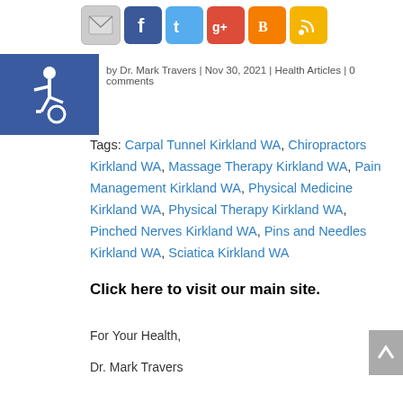[Figure (infographic): Social media sharing icons: email (envelope), Facebook, Twitter, Google+, Blogger, RSS feed]
[Figure (infographic): Blue square accessibility icon (wheelchair symbol)]
by Dr. Mark Travers | Nov 30, 2021 | Health Articles | 0 comments
Tags: Carpal Tunnel Kirkland WA, Chiropractors Kirkland WA, Massage Therapy Kirkland WA, Pain Management Kirkland WA, Physical Medicine Kirkland WA, Physical Therapy Kirkland WA, Pinched Nerves Kirkland WA, Pins and Needles Kirkland WA, Sciatica Kirkland WA
Click here to visit our main site.
For Your Health,
Dr. Mark Travers